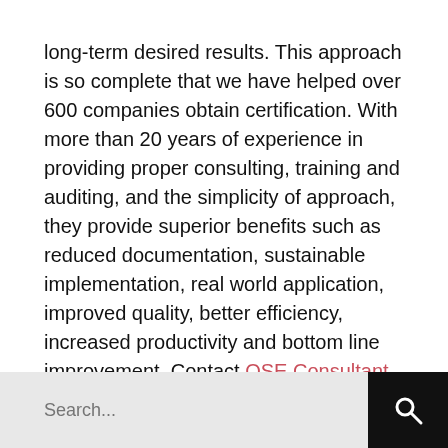long-term desired results. This approach is so complete that we have helped over 600 companies obtain certification. With more than 20 years of experience in providing proper consulting, training and auditing, and the simplicity of approach, they provide superior benefits such as reduced documentation, sustainable implementation, real world application, improved quality, better efficiency, increased productivity and bottom line improvement. Contact QSE Consultant through their website or call 770 – 518 – 9967770 – 518 – 9967 now.